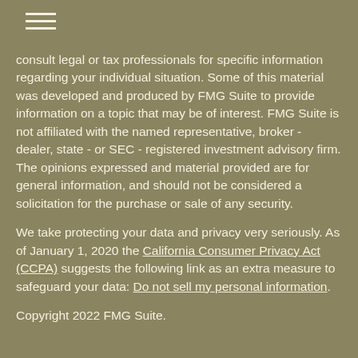☰
consult legal or tax professionals for specific information regarding your individual situation. Some of this material was developed and produced by FMG Suite to provide information on a topic that may be of interest. FMG Suite is not affiliated with the named representative, broker - dealer, state - or SEC - registered investment advisory firm. The opinions expressed and material provided are for general information, and should not be considered a solicitation for the purchase or sale of any security.
We take protecting your data and privacy very seriously. As of January 1, 2020 the California Consumer Privacy Act (CCPA) suggests the following link as an extra measure to safeguard your data: Do not sell my personal information.
Copyright 2022 FMG Suite.